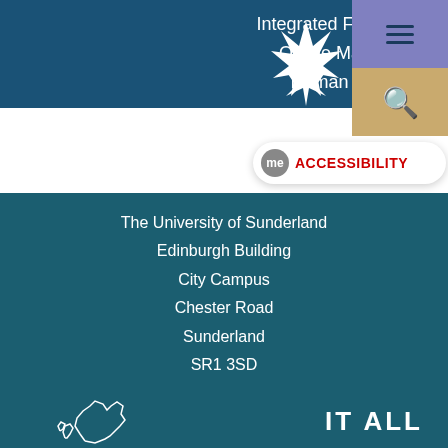Integrated Foundation Year
Online Masters degree
Human Resources
[Figure (logo): University of Sunderland starburst/crown logo in white]
[Figure (other): Hamburger menu icon on purple/blue background]
[Figure (other): Search icon on gold/yellow background]
[Figure (other): me Accessibility badge with speech bubble icon]
The University of Sunderland
Edinburgh Building
City Campus
Chester Road
Sunderland
SR1 3SD
Main switchboard: +44 (0)191 515 2000
Course helpline: +44 (0)191 515 3000
[Figure (map): Outline map of UK/Scotland region in white lines]
IT ALL